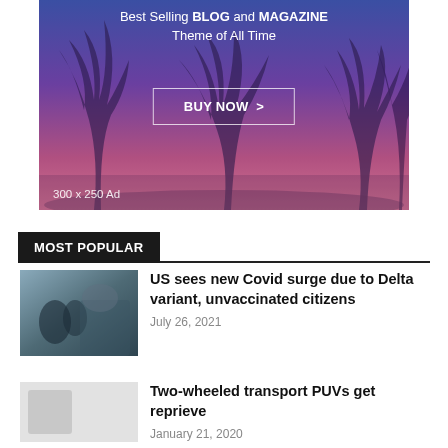[Figure (infographic): Advertisement banner with palm trees at sunset background, text reading 'Best Selling BLOG and MAGAZINE Theme of All Time', a 'BUY NOW >' button, and '300 x 250 Ad' label at bottom left.]
MOST POPULAR
[Figure (photo): Photo of a person receiving a vaccination or medical procedure, with medical professionals in background.]
US sees new Covid surge due to Delta variant, unvaccinated citizens
July 26, 2021
[Figure (photo): Small thumbnail image placeholder (light gray).]
Two-wheeled transport PUVs get reprieve
January 21, 2020